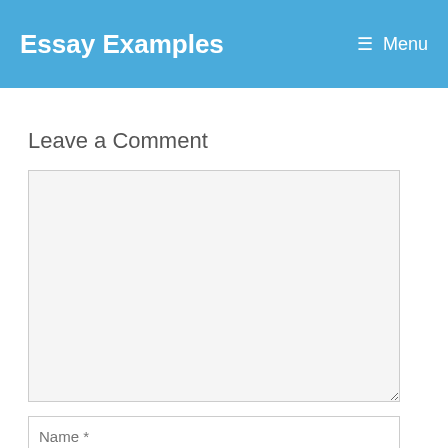Essay Examples   Menu
Leave a Comment
[Figure (screenshot): Comment text area input box, empty, with light gray background]
[Figure (screenshot): Name * text input field]
[Figure (screenshot): Email * text input field (partially visible)]